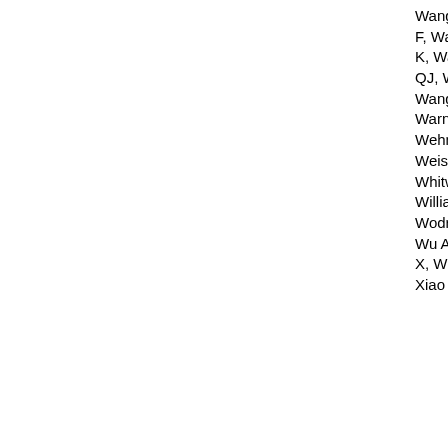Wang B, Wang CY, Wang C, Wang C, Wang C, Wang CY, Wang D, Wang F, Wang F, Wang F, Wang G, Wang H, Wang H, Wang H, Wang HG, Wang J, Wang J, Wang J, Wang J, Wang K, Wang L, Wang L, Wang MH, Wang M, Wang N, Wang P, Wang P, Wang P, Wang P, Wang QJ, Wang Q, Wang QK, Wang QA, Wang WT, Wang W, Wang X, Wang X, Wang Y, Wang Y, Wang Y, Wang YY, Wang Y, Wang Y, Wang Y, Wang Y, Wang Z, Wang Z, Wang Z, Warnes G, Warnsmann V, Watada H, Watanabe E, Watchon M, Wawrzyńska A, Weaver TE, Wegrzyn G, Wehman AM, Wei H, Wei L, Wei T, Wei Y, Weiergräber OH, Weihl CC, Weindl G, Weiskirchen R, Wells A, Wen RH, Wen X, Werner A, Weykopf B, Wheatley SP, Whitton JL, Whitworth AJ, Wiktorska K, Wildenberg ME, Wileman T, Wilkinson S, Willbold D, Williams B, Williams RSB, Williams RL, Williamson PR, Wilson RA, Winner B, Winsor NJ, Witkin SS, Wodrich H, Woehlbier U, Wollert T, Wong E, Wong JH, Wong RW, Wong VKW, Wong WW, Wu AG, Wu C, Wu J, Wu J, Wu KK, Wu M, Wu SY, Wu S, Wu SY, Wu S, Wu WKK, Wu X, Wu X, Wu YW, Wu Y, Xavier RJ, Xia H, Xia L, Xia Z, Xiang G, Xiang J, Xiang M, Xiang W, Xiao B, Xiao G, Xiao H, Xiao HT, Xiao J, Xiao L, Xiao S, Xiao Y, Xie B, Xie CM, Xie M, Xie Y, Xie Z,